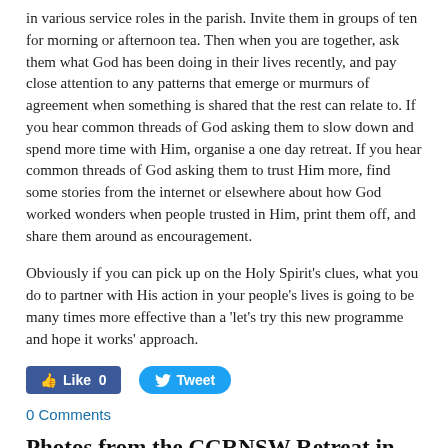in various service roles in the parish. Invite them in groups of ten for morning or afternoon tea. Then when you are together, ask them what God has been doing in their lives recently, and pay close attention to any patterns that emerge or murmurs of agreement when something is shared that the rest can relate to. If you hear common threads of God asking them to slow down and spend more time with Him, organise a one day retreat. If you hear common threads of God asking them to trust Him more, find some stories from the internet or elsewhere about how God worked wonders when people trusted in Him, print them off, and share them around as encouragement.
Obviously if you can pick up on the Holy Spirit's clues, what you do to partner with His action in your people's lives is going to be many times more effective than a 'let's try this new programme and hope it works' approach.
[Figure (other): Social media buttons: Facebook Like (0) and Twitter Tweet]
0 Comments
Photos from the CCRNSW Retreat in Jan 2019